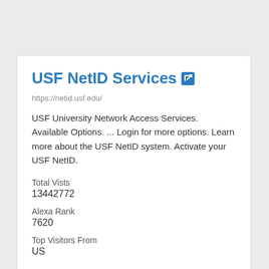USF NetID Services
https://netid.usf.edu/
USF University Network Access Services. Available Options. ... Login for more options. Learn more about the USF NetID system. Activate your USF NetID.
Total Vists
13442772
Alexa Rank
7620
Top Visitors From
US